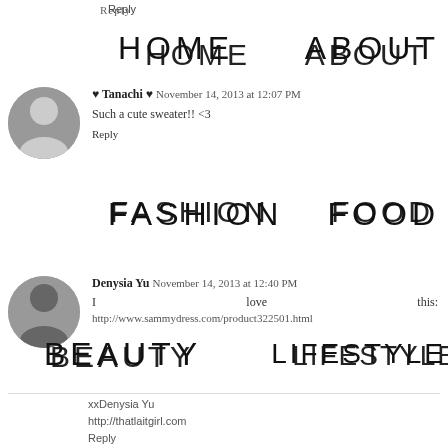Reply
HOME   ABOUT   FASHION   FOOD   BEAUTY   LIFESTYLE   CONTACT
♥ Tanachi ♥  November 14, 2013 at 12:07 PM
Such a cute sweater!! <3
Reply
Denysia Yu  November 14, 2013 at 12:40 PM
I love this: http://www.sammydress.com/product322501.html
xxDenysia Yu
http://thatlaitgirl.com
Reply
CosmeticCrazy  November 14, 2013 at 12:55 PM
http://www.sammydress.com/product869136.html
Rafflecopter: Rosie Areola